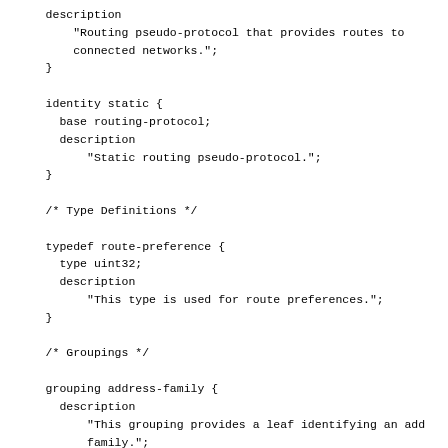description
    "Routing pseudo-protocol that provides routes to
    connected networks.";
}

identity static {
  base routing-protocol;
  description
      "Static routing pseudo-protocol.";
}

/* Type Definitions */

typedef route-preference {
  type uint32;
  description
      "This type is used for route preferences.";
}

/* Groupings */

grouping address-family {
  description
      "This grouping provides a leaf identifying an add
      family.";
  leaf address-family {
    type identityref {
      base address-family;
    }
    mandatory "true";
    description